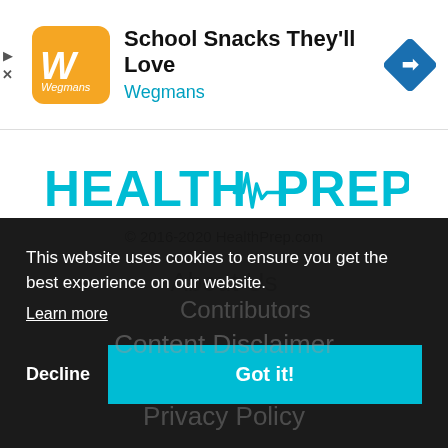[Figure (screenshot): Wegmans app advertisement banner with orange logo, title 'School Snacks They'll Love', subtitle 'Wegmans', and a blue diamond navigation arrow icon on the right.]
[Figure (logo): HealthPrep logo with teal/cyan text and a heartbeat ECG waveform graphic through the middle.]
© 2016-2020 HealthPrep.com
About Us
This website uses cookies to ensure you get the best experience on our website.
Learn more
Content Disclaimer
Contributors
Privacy Policy
Decline
Got it!